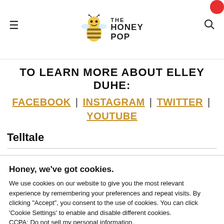The Honey Pop — navigation header with hamburger menu and search icon
TO LEARN MORE ABOUT ELLEY DUHE:
FACEBOOK | INSTAGRAM | TWITTER | YOUTUBE
Telltale
Honey, we've got cookies.
We use cookies on our website to give you the most relevant experience by remembering your preferences and repeat visits. By clicking "Accept", you consent to the use of cookies. You can click 'Cookie Settings' to enable and disable different cookies. CCPA: Do not sell my personal information.
Cookie Settings   Read More   Accept   Reject All